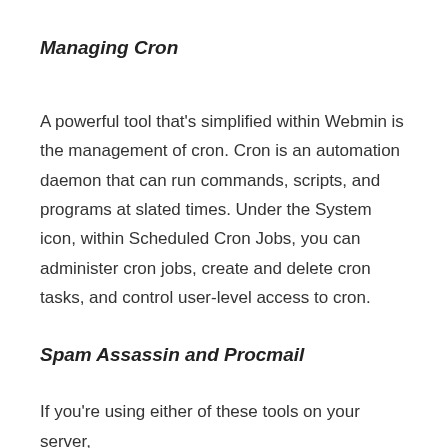Managing Cron
A powerful tool that’s simplified within Webmin is the management of cron. Cron is an automation daemon that can run commands, scripts, and programs at slated times. Under the System icon, within Scheduled Cron Jobs, you can administer cron jobs, create and delete cron tasks, and control user-level access to cron.
Spam Assassin and Procmail
If you’re using either of these tools on your server,